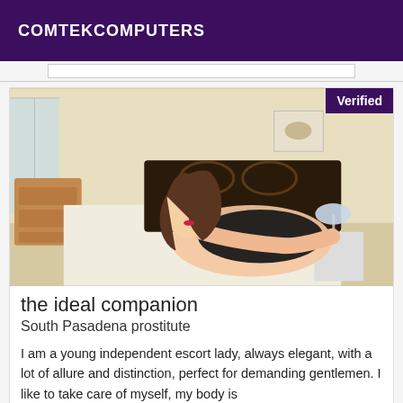COMTEKCOMPUTERS
[Figure (photo): Young woman in black top lying on a bed in a bedroom setting, with a 'Verified' badge in the top right corner.]
the ideal companion
South Pasadena prostitute
I am a young independent escort lady, always elegant, with a lot of allure and distinction, perfect for demanding gentlemen. I like to take care of myself, my body is